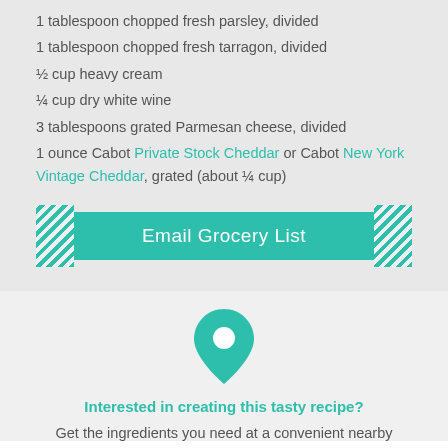1 tablespoon chopped fresh parsley, divided
1 tablespoon chopped fresh tarragon, divided
½ cup heavy cream
¼ cup dry white wine
3 tablespoons grated Parmesan cheese, divided
1 ounce Cabot Private Stock Cheddar or Cabot New York Vintage Cheddar, grated (about ¼ cup)
[Figure (infographic): Teal 'Email Grocery List' button with diagonal stripe decorations on both sides]
[Figure (infographic): Teal map pin/location icon]
Interested in creating this tasty recipe?
Get the ingredients you need at a convenient nearby